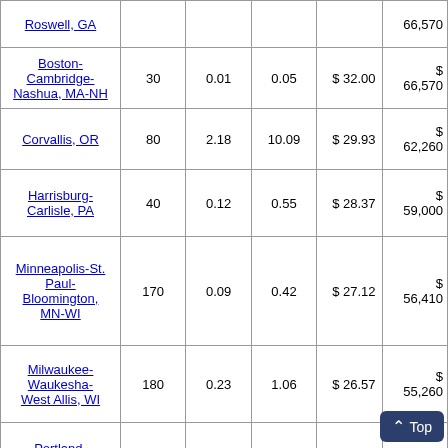| Metropolitan Area | Employment | % of Industry | % of Metro | Mean Hourly Wage | Annual Mean Wage |
| --- | --- | --- | --- | --- | --- |
| Roswell, GA |  |  |  |  | $ 66,570 |
| Boston-Cambridge-Nashua, MA-NH | 30 | 0.01 | 0.05 | $ 32.00 | $ 66,570 |
| Corvallis, OR | 80 | 2.18 | 10.09 | $ 29.93 | $ 62,260 |
| Harrisburg-Carlisle, PA | 40 | 0.12 | 0.55 | $ 28.37 | $ 59,000 |
| Minneapolis-St. Paul-Bloomington, MN-WI | 170 | 0.09 | 0.42 | $ 27.12 | $ 56,410 |
| Milwaukee-Waukesha-West Allis, WI | 180 | 0.23 | 1.06 | $ 26.57 | $ 55,260 |
| Portland-Vancouver-Hillsboro, OR-WA | 220 | 0.20 | 0.91 | $ 25.04 | $ 52,070 |
| Des Moines-West Des Moines, IA | 30 | 0.09 | 0.42 | $ 24.75 | $ 51,490 |
| Chicago- |  |  |  |  | $ |